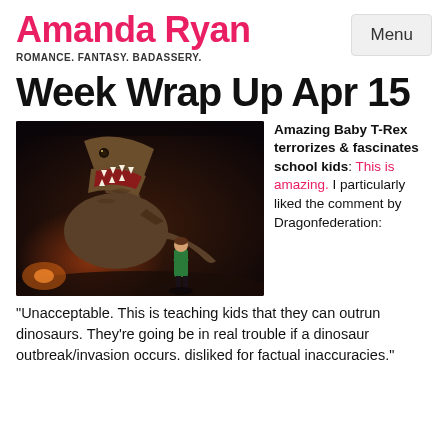Amanda Ryan — ROMANCE. FANTASY. BADASSERY. — Menu
Week Wrap Up Apr 15
[Figure (photo): A large animatronic T-Rex dinosaur with open jaws facing a small child in a green jacket, on a dark dramatic stage.]
Amazing Baby T-Rex terrorizes & fascinates school kids: This is amazing. I particularly liked the comment by Dragonfederation:
“Unacceptable. This is teaching kids that they can outrun dinosaurs. They’re going be in real trouble if a dinosaur outbreak/invasion occurs. disliked for factual inaccuracies.”